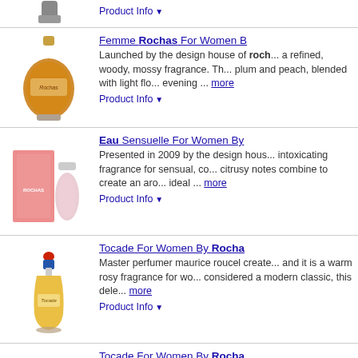[Figure (photo): Partial product image at top (cut off), gray cap/lid visible]
Product Info ▼
[Figure (photo): Femme Rochas amber/orange perfume bottle]
Femme Rochas For Women B... Launched by the design house of roch... a refined, woody, mossy fragrance. Th... plum and peach, blended with light flo... evening ... more
Product Info ▼
[Figure (photo): Eau Sensuelle pink box and perfume bottle by Rochas]
Eau Sensuelle For Women By... Presented in 2009 by the design hous... intoxicating fragrance for sensual, con... citrusy notes combine to create an aro... ideal ... more
Product Info ▼
[Figure (photo): Tocade perfume bottle with blue and red cap]
Tocade For Women By Rocha... Master perfumer maurice roucel create... and it is a warm rosy fragrance for wo... considered a modern classic, this dele... more
Product Info ▼
[Figure (photo): Tocade perfume bottle with red box]
Tocade For Women By Rocha... Master perfumer maurice roucel create... and it is a warm rosy fragrance for wo... considered a modern classic, this dele... more